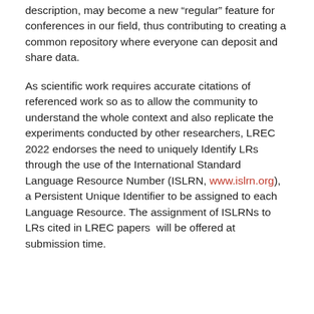description, may become a new “regular” feature for conferences in our field, thus contributing to creating a common repository where everyone can deposit and share data.
As scientific work requires accurate citations of referenced work so as to allow the community to understand the whole context and also replicate the experiments conducted by other researchers, LREC 2022 endorses the need to uniquely Identify LRs through the use of the International Standard Language Resource Number (ISLRN, www.islrn.org), a Persistent Unique Identifier to be assigned to each Language Resource. The assignment of ISLRNs to LRs cited in LREC papers will be offered at submission time.